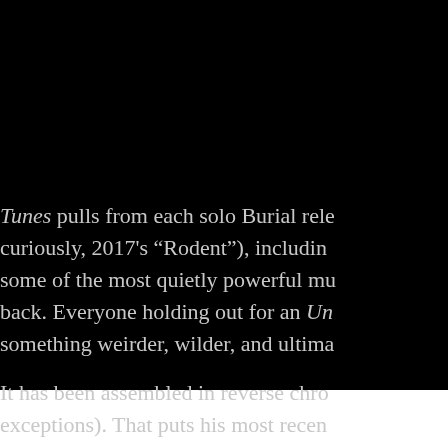Tunes pulls from each solo Burial release (and, curiously, 2017's "Rodent"), including some of the most quietly powerful mu... back. Everyone holding out for an Un... something weirder, wilder, and ultima...
It has been assembled in reverse chro... exceptions). That puts his most recen...